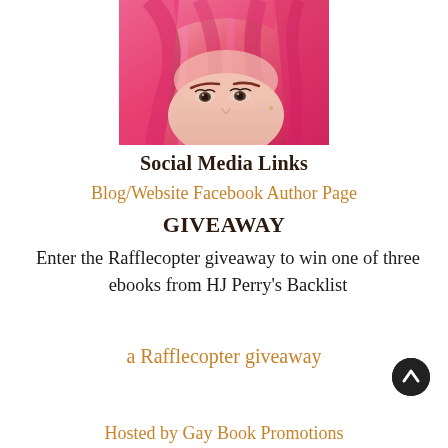[Figure (photo): Close-up photo of a person with bright pink/magenta hair, face partially visible showing eyes and forehead]
Social Media Links
Blog/Website Facebook Author Page
GIVEAWAY
Enter the Rafflecopter giveaway to win one of three ebooks from HJ Perry's Backlist
a Rafflecopter giveaway
Hosted by Gay Book Promotions